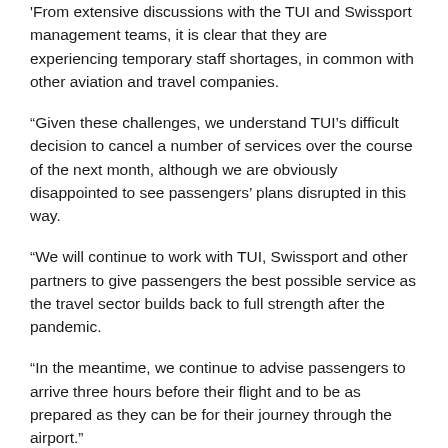'From extensive discussions with the TUI and Swissport management teams, it is clear that they are experiencing temporary staff shortages, in common with other aviation and travel companies.
“Given these challenges, we understand TUI’s difficult decision to cancel a number of services over the course of the next month, although we are obviously disappointed to see passengers’ plans disrupted in this way.
“We will continue to work with TUI, Swissport and other partners to give passengers the best possible service as the travel sector builds back to full strength after the pandemic.
“In the meantime, we continue to advise passengers to arrive three hours before their flight and to be as prepared as they can be for their journey through the airport.”